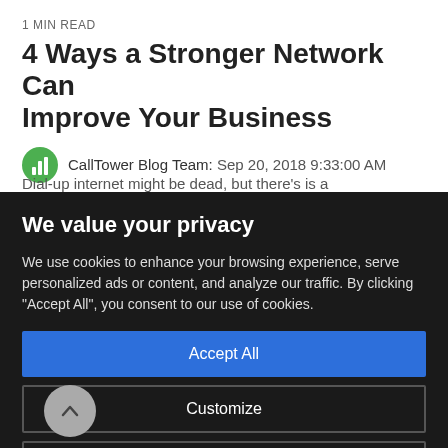1 MIN READ
4 Ways a Stronger Network Can Improve Your Business
CallTower Blog Team: Sep 20, 2018 9:33:00 AM
Dial-up internet might be dead, but there's is a
We value your privacy
We use cookies to enhance your browsing experience, serve personalized ads or content, and analyze our traffic. By clicking "Accept All", you consent to our use of cookies.
Accept All
Customize
Reject All